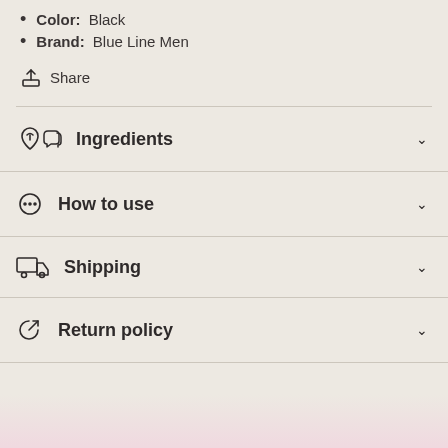Color: Black
Brand: Blue Line Men
Share
Ingredients
How to use
Shipping
Return policy